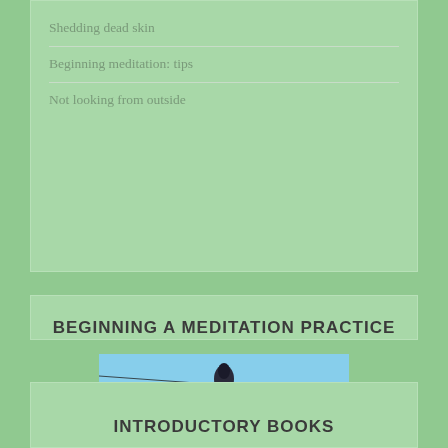Shedding dead skin
Beginning meditation: tips
Not looking from outside
BEGINNING A MEDITATION PRACTICE
[Figure (photo): A street sign post with two signs: one reading 'MARKET SQUARE' pointing right, and another sign above it, against a blue sky background with power lines and a dark rooftop.]
INTRODUCTORY BOOKS